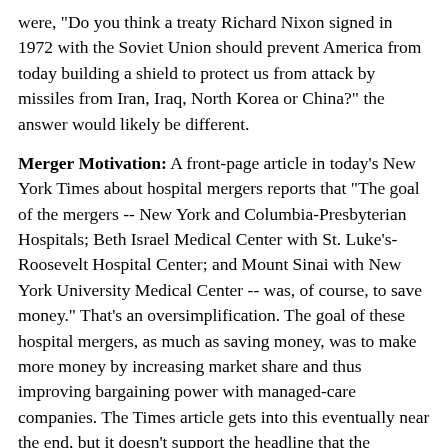were, "Do you think a treaty Richard Nixon signed in 1972 with the Soviet Union should prevent America from today building a shield to protect us from attack by missiles from Iran, Iraq, North Korea or China?" the answer would likely be different.
Merger Motivation: A front-page article in today's New York Times about hospital mergers reports that "The goal of the mergers -- New York and Columbia-Presbyterian Hospitals; Beth Israel Medical Center with St. Luke's-Roosevelt Hospital Center; and Mount Sinai with New York University Medical Center -- was, of course, to save money." That's an oversimplification. The goal of these hospital mergers, as much as saving money, was to make more money by increasing market share and thus improving bargaining power with managed-care companies. The Times article gets into this eventually near the end, but it doesn't support the headline that the mergers are "stumbling," so it gets short shrift.
Late Again: The national section of today's New York Times carries an article under the headline "U.S. Attorney in New York Will Coordinate Inquiry on Pardons." The Los Angeles Times reported this yesterday, writing, "The decision by Atty. Gen. John Ashcroft, described by Justice Department officials as unprecedented in its scope, empowers U.S. Atty. Mary Jo White of New York to vastly broaden her office's review of three